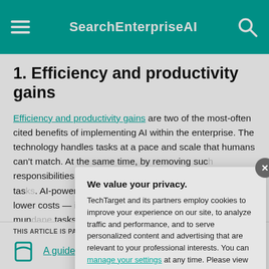SearchEnterpriseAI
1. Efficiency and productivity gains
Efficiency and productivity gains are two of the most-often cited benefits of implementing AI within the enterprise. The technology handles tasks at a pace and scale that humans can't match. At the same time, by removing such responsibilities, employees can focus on higher-value tasks. AI-powered automation also helps organizations to lower costs — instead of paying humans performing mundane, repetitive tasks, those tasks can be performed by technology. This frees organizations to redeploy their human capital elsewhere.
THIS ARTICLE IS PART OF
A guide
We value your privacy.
TechTarget and its partners employ cookies to improve your experience on our site, to analyze traffic and performance, and to serve personalized content and advertising that are relevant to your professional interests. You can manage your settings at any time. Please view our Privacy Policy for more information